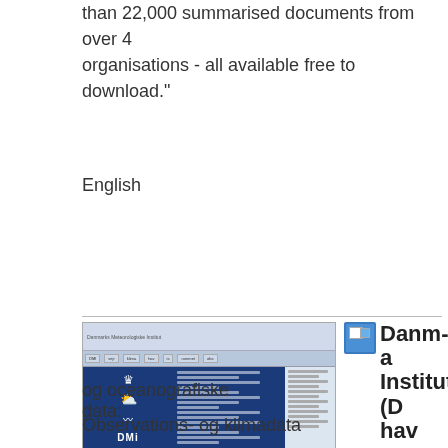than 22,000 summarised documents from over 4 organisations - all available free to download."
English
[Figure (screenshot): Screenshot of the DMI (Danmarks Meteorologiske Institut) website showing a dark blue sidebar with the DMI logo (crown, weather, waves icons), a main content area, and navigation bar.]
Danmarks Meteorologiske Institut (DMI) hav
DMI
DMI tilbyder en og oceanografiske data:
Observations- og klimadata